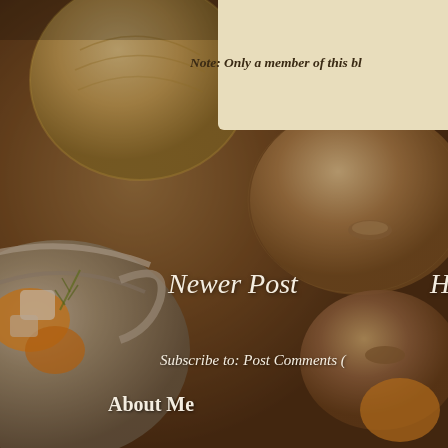[Figure (photo): Background photo of mushrooms, onions, carrots and a cooking pot on a wooden surface with warm brown tones]
Note: Only a member of this bl
Newer Post
H
Subscribe to: Post Comments (
About Me
[Figure (illustration): Avatar illustration of a woman chef/cook in green apron holding a bowl]
The Comforting Vegan
View my complete profile
COPYRIGHT
COPYRIGHT All content on this blog, including the pho